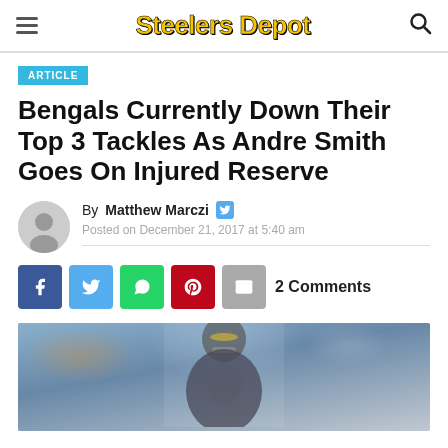Steelers Depot
ARTICLE
Bengals Currently Down Their Top 3 Tackles As Andre Smith Goes On Injured Reserve
By Matthew Marczi
Posted on December 21, 2017 at 5:40 am
2 Comments
[Figure (photo): Photo of a Cincinnati Bengals player at the bottom of the page, partially visible, with a blurred crowd background in blue tones]